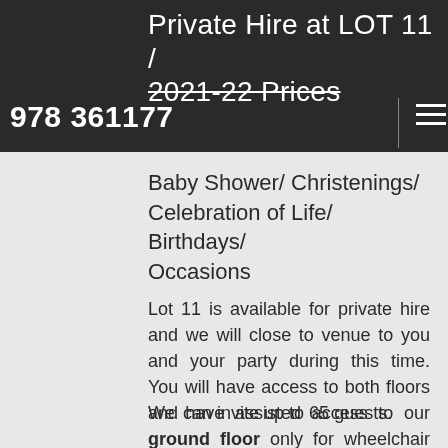Private Hire at LOT 11 / 2021-22 Prices | 978 361177
Baby Shower/ Christenings/ Celebration of Life/ Birthdays/ Occasions
Lot 11 is available for private hire and we will close to venue to you and your party during this time. You will have access to both floors and can invite up to 65 guests.
We have assisted access to our ground floor only for wheelchair users, which has three steps to get into or a ramp put out at a